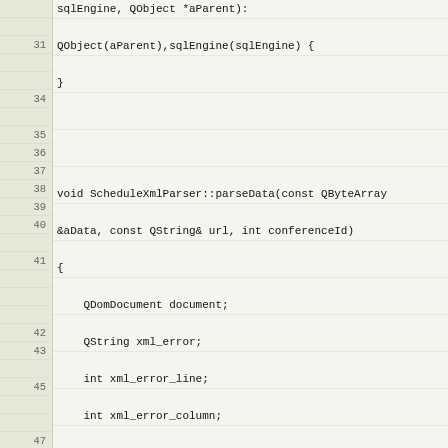[Figure (screenshot): Source code viewer showing C++ code for ScheduleXmlParser::parseData function, lines 31-55, with line numbers in a beige gutter on the left and code on a light background.]